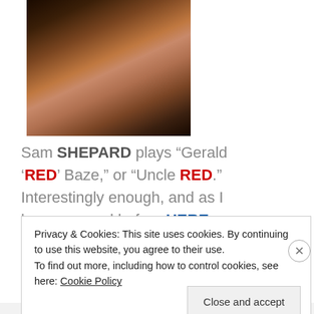[Figure (photo): Close-up photo of Sam Shepard, an older man with weathered features, wearing dark clothing, against a dark background.]
Sam SHEPARD plays “Gerald ‘RED’ Baze,” or “Uncle RED.” Interestingly enough, and as I have covered before HERE.
Privacy & Cookies: This site uses cookies. By continuing to use this website, you agree to their use.
To find out more, including how to control cookies, see here: Cookie Policy
Close and accept